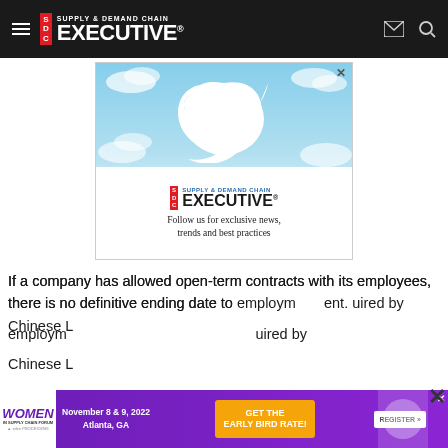Supply & Demand Chain Executive
[Figure (illustration): Twitter advertisement banner showing Twitter bird logo with clouds background and Supply & Demand Chain Executive logo with text 'Follow us for exclusive news, trends and best practices']
If a company has allowed open-term contracts with its employees, there is no definitive ending date to employment. Chinese L...
[Figure (illustration): Women in Supply Chain Forum advertisement banner: November 8 & 9, 2022, Atlanta, GA. GET THE EARLY BIRD RATE! REGISTER >>]